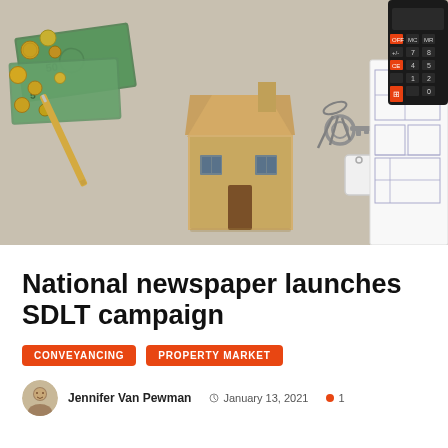[Figure (photo): Overhead flat-lay photo showing a wooden toy house, euro banknotes and coins, a set of keys with a blank tag, a calculator with orange/red buttons, and a floor plan blueprint, all on a beige/grey surface.]
National newspaper launches SDLT campaign
CONVEYANCING
PROPERTY MARKET
Jennifer Van Pewman   January 13, 2021   1